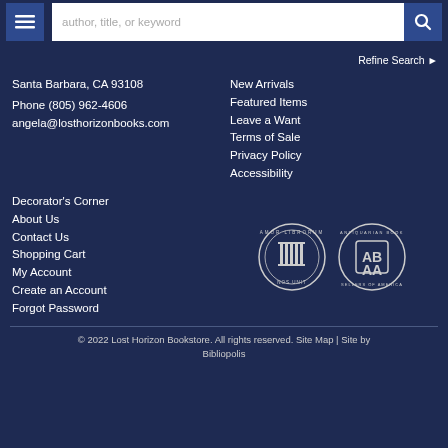[Figure (screenshot): Navigation header with hamburger menu button, search input field with placeholder 'author, title, or keyword', and search/magnifier button]
Refine Search ❯
Santa Barbara, CA 93108
Phone (805) 962-4606
angela@losthorizonbooks.com
New Arrivals
Featured Items
Leave a Want
Terms of Sale
Privacy Policy
Accessibility
Decorator's Corner
About Us
Contact Us
Shopping Cart
My Account
Create an Account
Forgot Password
[Figure (logo): Two circular badge logos: an ABACUS/ILAB booksellers seal and an ABAA (Antiquarian Booksellers' Association of America) seal]
© 2022 Lost Horizon Bookstore. All rights reserved. Site Map | Site by Bibliopolis